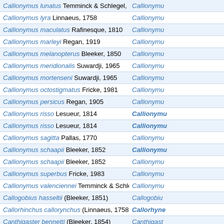| Species | Genus |
| --- | --- |
| Callionymus lunatus Temminck & Schlegel, 1845 | Callionymu... |
| Callionymus lyra Linnaeus, 1758 | Callionymu... |
| Callionymus maculatus Rafinesque, 1810 | Callionymu... |
| Callionymus marleyi Regan, 1919 | Callionymu... |
| Callionymus melanopterus Bleeker, 1850 | Callionymu... |
| Callionymus meridionalis Suwardji, 1965 | Callionymu... |
| Callionymus mortenseni Suwardji, 1965 | Callionymu... |
| Callionymus octostigmatus Fricke, 1981 | Callionymu... |
| Callionymus persicus Regan, 1905 | Callionymu... |
| Callionymus risso Lesueur, 1814 | Callionymu... (bold) |
| Callionymus risso Lesueur, 1814 | Callionymu... (bold) |
| Callionymus sagitta Pallas, 1770 | Callionymu... |
| Callionymus schaapii Bleeker, 1852 | Callionymu... (bold) |
| Callionymus schaapii Bleeker, 1852 | Callionymu... |
| Callionymus superbus Fricke, 1983 | Callionymu... |
| Callionymus valenciennei Temminck & Schlegel, 1845 | Callionymu... |
| Callogobius hasseltii (Bleeker, 1851) | Callogobiu... |
| Callorhinchus callorynchus (Linnaeus, 1758) | Callorhyne... (bold) |
| Canthigaster bennetti (Bleeker, 1854) | Canthigast... |
| Canthigaster valentini (Bleeker, 1853) | Canthigast... |
| Capoeta damascina (Valenciennes, 1842) | Capoeta da... |
| Capoeta damascina (Valenciennes, 1842) | Capoeta d... (bold) |